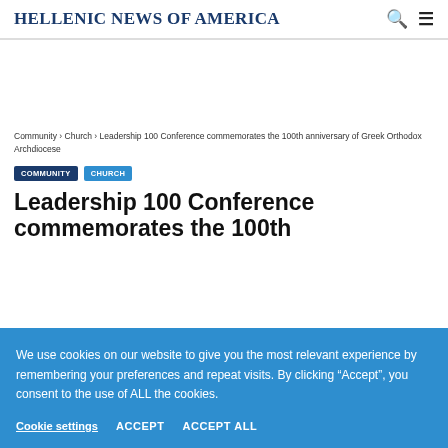Hellenic News of America
Community › Church › Leadership 100 Conference commemorates the 100th anniversary of Greek Orthodox Archdiocese
COMMUNITY   CHURCH
Leadership 100 Conference commemorates the 100th
We use cookies on our website to give you the most relevant experience by remembering your preferences and repeat visits. By clicking “Accept”, you consent to the use of ALL the cookies.
Cookie settings   ACCEPT   ACCEPT ALL